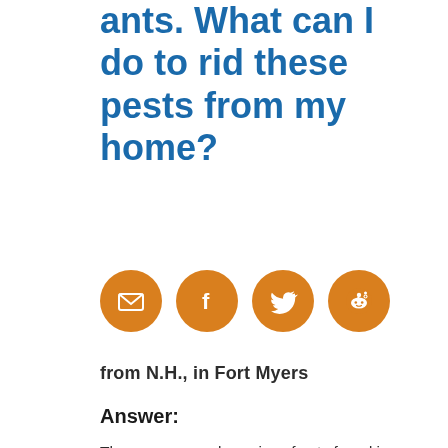ants. What can I do to rid these pests from my home?
[Figure (infographic): Four orange circular social sharing icons: email, Facebook, Twitter, Reddit]
from N.H., in Fort Myers
Answer:
There are several species of ants found in or around houses in Florida. In general, the most common ants can be grouped as house infesting, yard infesting, and carpenter ants. The most commonly encountered are the pharaoh, ghost, carpenter, native fire, imported fire,